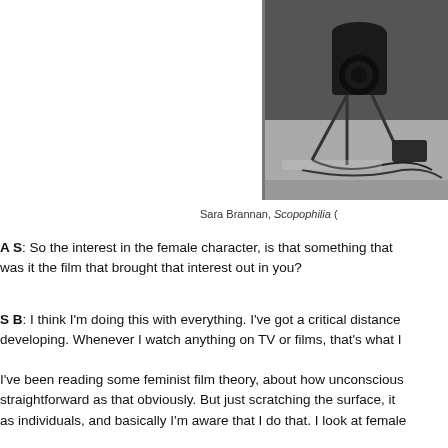[Figure (photo): Black and white photograph showing film equipment including a camera on a tripod and other studio/production gear on a floor, partially cropped at right edge]
Sara Brannan, Scopophilia (
A S: So the interest in the female character, is that something that was it the film that brought that interest out in you?
S B: I think I'm doing this with everything. I've got a critical distance developing. Whenever I watch anything on TV or films, that's what I
I've been reading some feminist film theory, about how unconscious straightforward as that obviously. But just scratching the surface, it as individuals, and basically I'm aware that I do that. I look at female